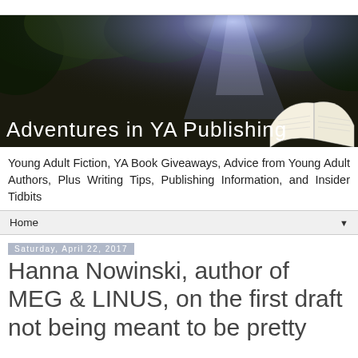[Figure (screenshot): Banner image for 'Adventures in YA Publishing' blog with forest/sunlight background photo and white text overlay with an open book illustration]
Young Adult Fiction, YA Book Giveaways, Advice from Young Adult Authors, Plus Writing Tips, Publishing Information, and Insider Tidbits
Home ▼
Saturday, April 22, 2017
Hanna Nowinski, author of MEG & LINUS, on the first draft not being meant to be pretty